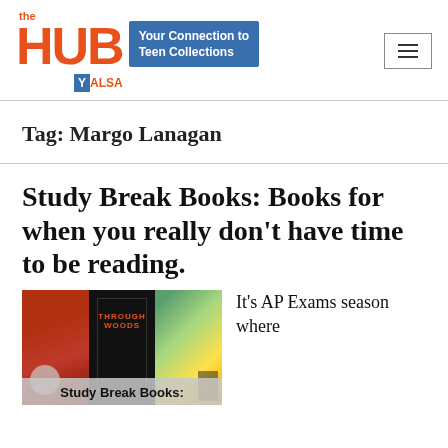[Figure (logo): The HUB logo with orange text, blue badge 'Your Connection to Teen Collections', and YALSA badge. Hamburger menu icon on the right.]
Tag: Margo Lanagan
Study Break Books: Books for when you really don't have time to be reading.
[Figure (photo): Three book covers side by side with overlay text 'Study Break Books:']
It's AP Exams season where